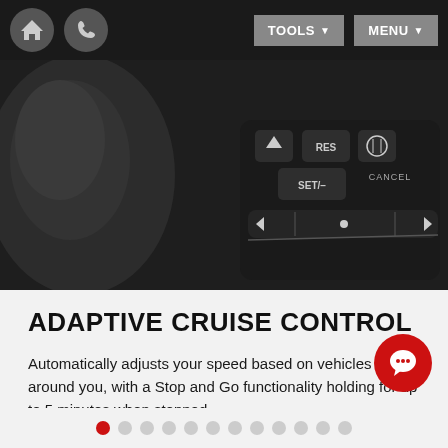TOOLS  MENU
[Figure (photo): Close-up photograph of steering wheel controls showing buttons labeled RES, SET/-, CANCEL, and media/navigation controls on a dark leather steering wheel]
ADAPTIVE CRUISE CONTROL
Automatically adjusts your speed based on vehicles around you, with a Stop and Go functionality holding for up to 5 minutes when stopped.